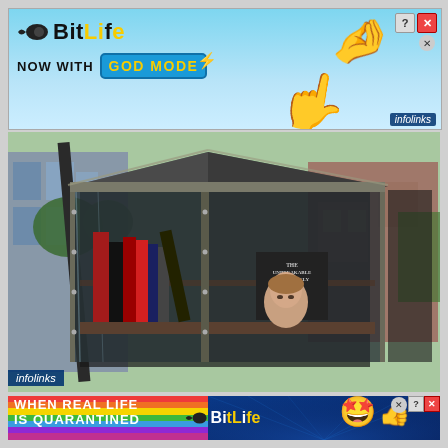[Figure (screenshot): Top advertisement banner for BitLife game app — 'NOW WITH GOD MODE' text with pointing hand emoji and game logo on cyan/sky-blue gradient background. Controls (? and X buttons) in top right. 'infolinks' badge bottom right.]
[Figure (photo): Photograph of an outdoor Little Free Library — a glass-panel metal book-sharing kiosk with angled roof panels, filled with books including 'The Unbreakable Miss Lovely' (visible cover with woman's face), set on a city street with brick buildings and greenery in background.]
infolinks
[Figure (screenshot): Bottom advertisement banner for BitLife game — 'WHEN REAL LIFE IS QUARANTINED' on left with rainbow stripes, BitLife logo in center, emoji face with stars and thumbs up on right, dark blue ray background.]